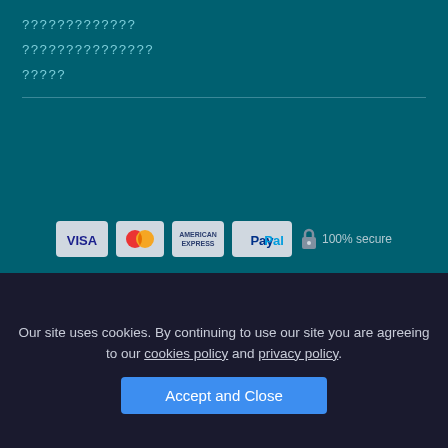?????????????
???????????????
?????
????????? +
??????? +
??????????? +
[Figure (other): Payment method icons: VISA, Mastercard, American Express, PayPal, and 100% secure lock badge]
Our site uses cookies. By continuing to use our site you are agreeing to our cookies policy and privacy policy.
Accept and Close